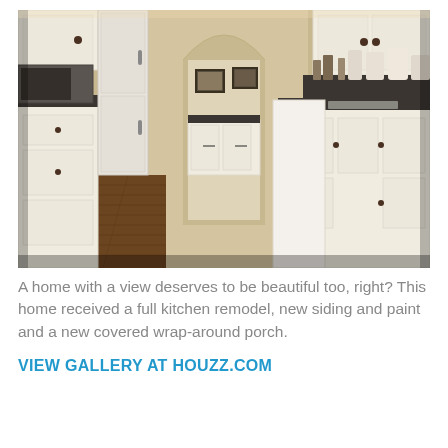[Figure (photo): Interior photo of a remodeled kitchen with white cabinets, dark countertops, hardwood floors, and an arched passageway leading to another room with framed artwork on the walls]
A home with a view deserves to be beautiful too, right? This home received a full kitchen remodel, new siding and paint and a new covered wrap-around porch.
VIEW GALLERY AT HOUZZ.COM